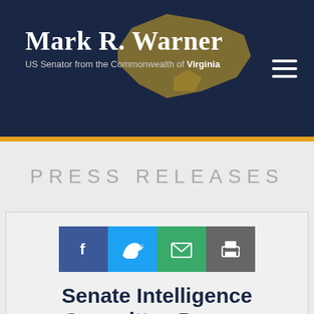Mark R. Warner — US Senator from the Commonwealth of Virginia
PRESS RELEASES
[Figure (infographic): Social sharing buttons: Facebook, Twitter, Email, Print]
Senate Intelligence Committee Passes The FY23 Intelligence